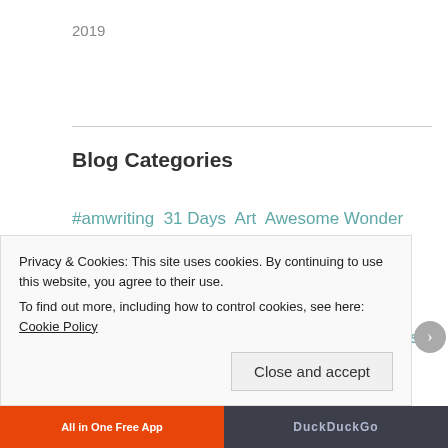2019
Blog Categories
#amwriting  31 Days  Art  Awesome Wonder  Beautiful Music  Beauty  Blogging  Children  Christian Community  Christianity  Christian Love  Counting Gifts  Encouragement  Faith  Family  Friends  Gifts  God Stories  Goodness of God  Grace  Inspiration  Joy  Living Life
Privacy & Cookies: This site uses cookies. By continuing to use this website, you agree to their use.
To find out more, including how to control cookies, see here: Cookie Policy
Close and accept